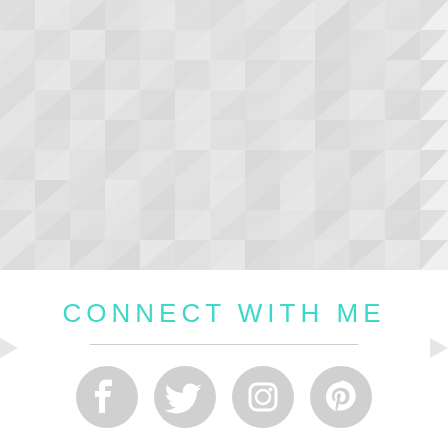[Figure (illustration): Light grey geometric triangle pattern background covering the upper 3/4 of the page, with darker triangles in clusters and lighter triangles throughout]
CONNECT WITH ME
[Figure (illustration): Four circular social media icons in light grey: Facebook, Twitter, Instagram, Pinterest]